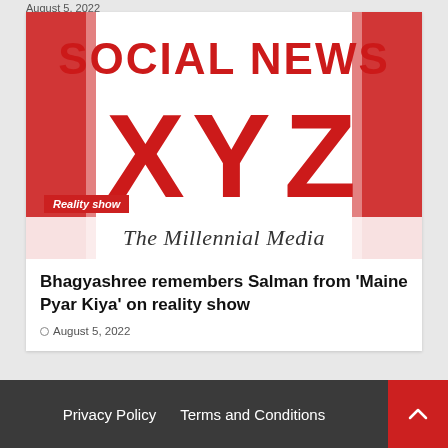August 5, 2022
[Figure (logo): Social News XYZ logo with large red XYZ letters on white/red background, with 'The Millennial Media' tagline and 'Reality show' tag overlay]
Bhagyashree remembers Salman from 'Maine Pyar Kiya' on reality show
August 5, 2022
Privacy Policy   Terms and Conditions